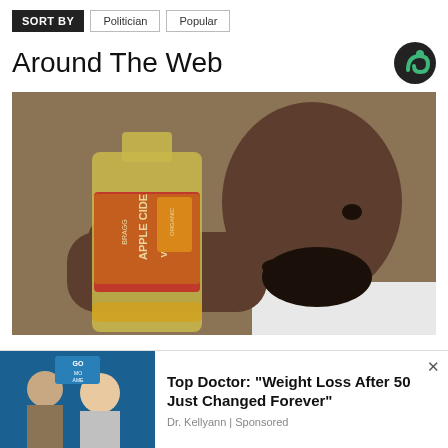SORT BY  Politician  Popular
Around The Web
[Figure (photo): Man drinking directly from a large bottle of Bragg Organic Apple Cider Vinegar]
[Figure (photo): Advertisement thumbnail showing two women on a TV morning show set with 'Good Morning America' text visible]
Top Doctor: "Weight Loss After 50 Just Changed Forever"
Dr. Kellyann | Sponsored